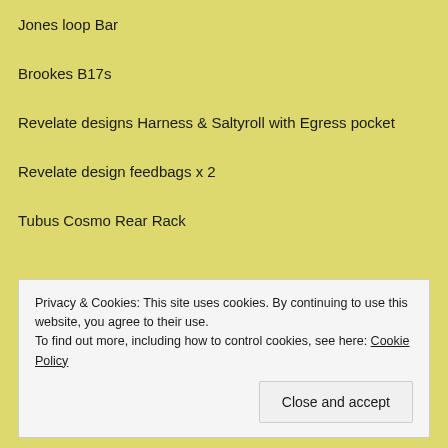Jones loop Bar
Brookes B17s
Revelate designs Harness & Saltyroll with Egress pocket
Revelate design feedbags x 2
Tubus Cosmo Rear Rack
Privacy & Cookies: This site uses cookies. By continuing to use this website, you agree to their use. To find out more, including how to control cookies, see here: Cookie Policy